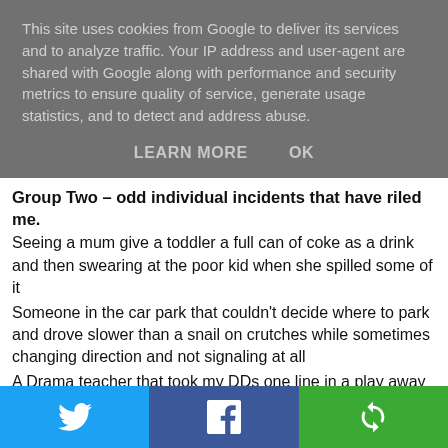This site uses cookies from Google to deliver its services and to analyze traffic. Your IP address and user-agent are shared with Google along with performance and security metrics to ensure quality of service, generate usage statistics, and to detect and address abuse.
LEARN MORE   OK
Group Two – odd individual incidents that have riled me.
Seeing a mum give a toddler a full can of coke as a drink and then swearing at the poor kid when she spilled some of it
Someone in the car park that couldn't decide where to park and drove slower than a snail on crutches while sometimes changing direction and not signaling at all
A Drama teacher that took my DDs one line in a play away from her because DD was sick one week of rehearsal, despite her learning her line and being great and everything.
Ryanair - for charging me excess baggage on a case that
[Figure (infographic): Social share bar with Twitter (blue), Facebook (dark blue), and a share/refresh icon (green) buttons]